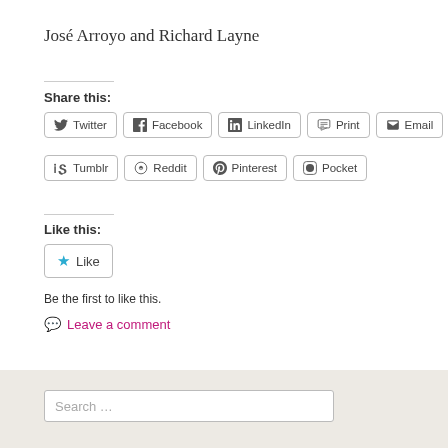José Arroyo and Richard Layne
Share this:
[Figure (other): Social share buttons: Twitter, Facebook, LinkedIn, Print, Email, Tumblr, Reddit, Pinterest, Pocket]
Like this:
[Figure (other): Like button with star icon]
Be the first to like this.
Leave a comment
Search …